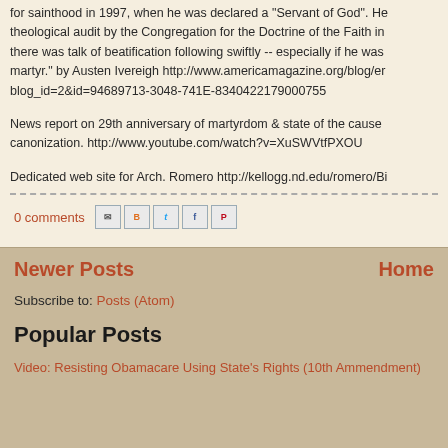for sainthood in 1997, when he was declared a "Servant of God". He theological audit by the Congregation for the Doctrine of the Faith in there was talk of beatification following swiftly -- especially if he was martyr." by Austen Ivereigh http://www.americamagazine.org/blog/en blog_id=2&id=94689713-3048-741E-8340422179000755
News report on 29th anniversary of martyrdom & state of the cause canonization. http://www.youtube.com/watch?v=XuSWVtfPXOU
Dedicated web site for Arch. Romero http://kellogg.nd.edu/romero/Bi
0 comments
Newer Posts
Home
Subscribe to: Posts (Atom)
Popular Posts
Video: Resisting Obamacare Using State's Rights (10th Ammendment)